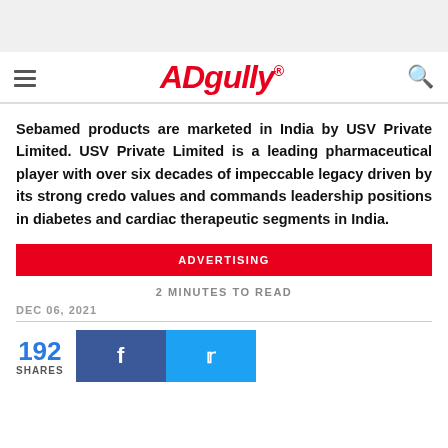Adgully
Sebamed products are marketed in India by USV Private Limited. USV Private Limited is a leading pharmaceutical player with over six decades of impeccable legacy driven by its strong credo values and commands leadership positions in diabetes and cardiac therapeutic segments in India.
ADVERTISING
2 MINUTES TO READ
DEC 06, 2021
192 SHARES